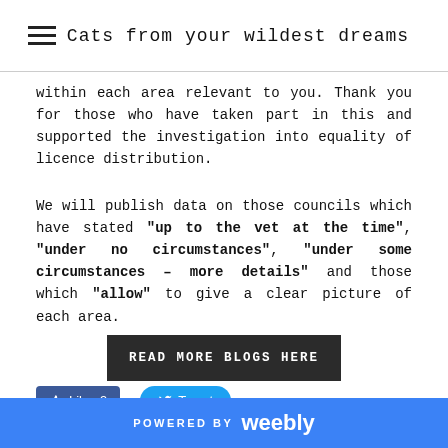Cats from your wildest dreams
within each area relevant to you. Thank you for those who have taken part in this and supported the investigation into equality of licence distribution.
We will publish data on those councils which have stated "up to the vet at the time", "under no circumstances", "under some circumstances – more details" and those which "allow" to give a clear picture of each area.
READ MORE BLOGS HERE
[Figure (screenshot): Facebook Like button showing 9 likes and a Twitter Tweet button]
Comments
POWERED BY weebly